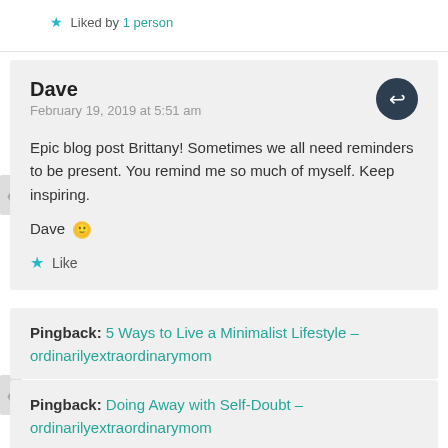★ Liked by 1 person
Dave
February 19, 2019 at 5:51 am
Epic blog post Brittany! Sometimes we all need reminders to be present. You remind me so much of myself. Keep inspiring.
Dave 🙂
★ Like
Pingback: 5 Ways to Live a Minimalist Lifestyle – ordinarilyextraordinarymom
Pingback: Doing Away with Self-Doubt – ordinarilyextraordinarymom